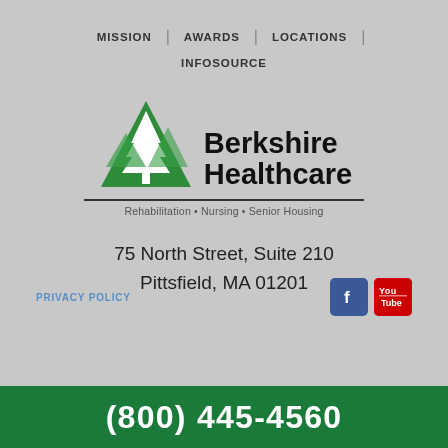MISSION | AWARDS | LOCATIONS | INFOSOURCE
[Figure (logo): Berkshire Healthcare logo with green mountain triangle containing white pine tree, bold text 'Berkshire Healthcare', subtitle 'Rehabilitation • Nursing • Senior Housing']
75 North Street, Suite 210
Pittsfield, MA 01201
PRIVACY POLICY
(800) 445-4560